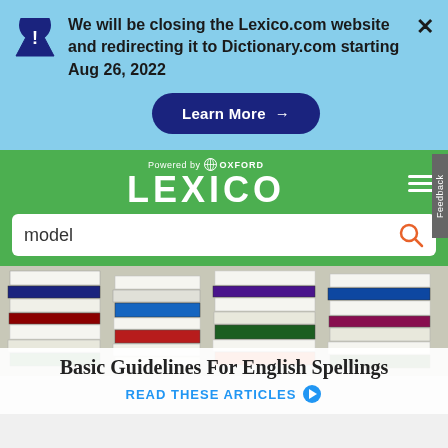We will be closing the Lexico.com website and redirecting it to Dictionary.com starting Aug 26, 2022
Learn More →
[Figure (logo): Lexico powered by Oxford logo on green navigation bar]
model
[Figure (photo): Stacked books photo background]
Basic Guidelines For English Spellings
READ THESE ARTICLES ❯